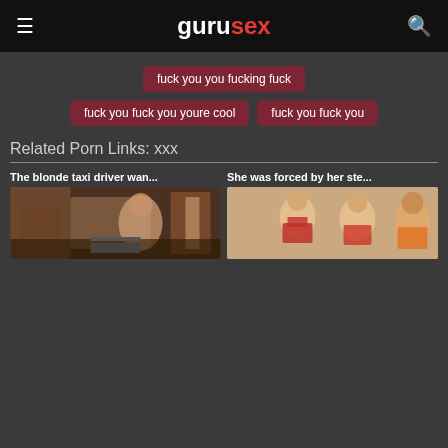gurusex
fuck you you fucking fuck
fuck you fuck you youre cool
fuck you fuck you
Related Porn Links: xxx
The blonde taxi driver wan...
[Figure (photo): Thumbnail of blonde taxi driver video]
She was forced by her ste...
[Figure (photo): Thumbnail of forced stepfamily video]